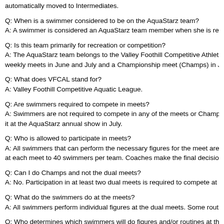automatically moved to Intermediates.
Q: When is a swimmer considered to be on the AquaStarz team?
A: A swimmer is considered an AquaStarz team member when she is regis...
Q: Is this team primarily for recreation or competition?
A: The AquaStarz team belongs to the Valley Foothill Competitive Athletic L... weekly meets in June and July and a Championship meet (Champs) in July. A...
Q: What does VFCAL stand for?
A: Valley Foothill Competitive Aquatic League.
Q: Are swimmers required to compete in meets?
A: Swimmers are not required to compete in any of the meets or Champs.... it at the AquaStarz annual show in July.
Q: Who is allowed to participate in meets?
A: All swimmers that can perform the necessary figures for the meet are e... at each meet to 40 swimmers per team. Coaches make the final decision r...
Q: Can I do Champs and not the dual meets?
A: No. Participation in at least two dual meets is required to compete at C...
Q: What do the swimmers do at the meets?
A: All swimmers perform individual figures at the dual meets. Some routin...
Q: Who determines which swimmers will do figures and/or routines at the...
A: The coaches determine whether a swimmer is ready to compete in a du...
Q: Do all swimmers competing at Champs do figures and routines?